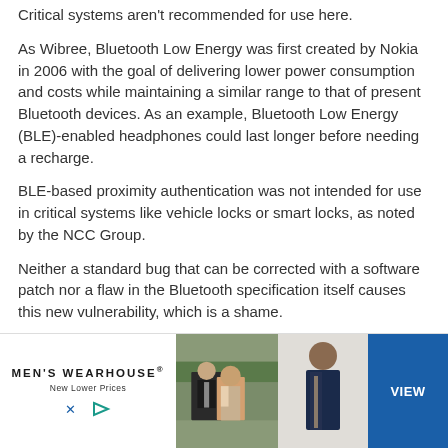Critical systems aren't recommended for use here.
As Wibree, Bluetooth Low Energy was first created by Nokia in 2006 with the goal of delivering lower power consumption and costs while maintaining a similar range to that of present Bluetooth devices. As an example, Bluetooth Low Energy (BLE)-enabled headphones could last longer before needing a recharge.
BLE-based proximity authentication was not intended for use in critical systems like vehicle locks or smart locks, as noted by the NCC Group.
Neither a standard bug that can be corrected with a software patch nor a flaw in the Bluetooth specification itself causes this new vulnerability, which is a shame.
Defending yourself from BLE-based attacks
[Figure (photo): Advertisement banner for Men's Wearhouse showing a couple in formal wear and a man in a suit, with a blue VIEW button]